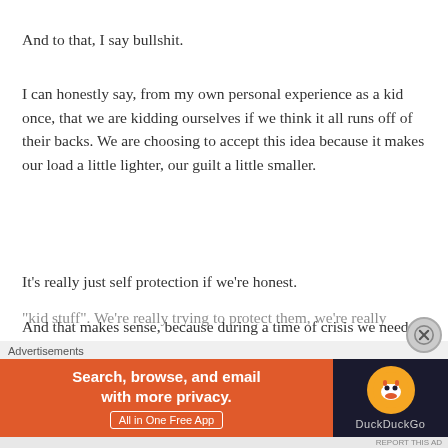And to that, I say bullshit.
I can honestly say, from my own personal experience as a kid once, that we are kidding ourselves if we think it all runs off of their backs. We are choosing to accept this idea because it makes our load a little lighter, our guilt a little smaller.
It's really just self protection if we're honest.
And that makes sense, because during a time of crisis we need to be the strongest we have ever been, for our kids. We try our hardest to shield them from the ugly truths, the struggles and the conflicts, because it's not
"kid stuff". We're really trying to protect them, we're really
Advertisements
[Figure (other): DuckDuckGo advertisement banner: orange left panel with text 'Search, browse, and email with more privacy. All in One Free App' and dark right panel with DuckDuckGo logo and name]